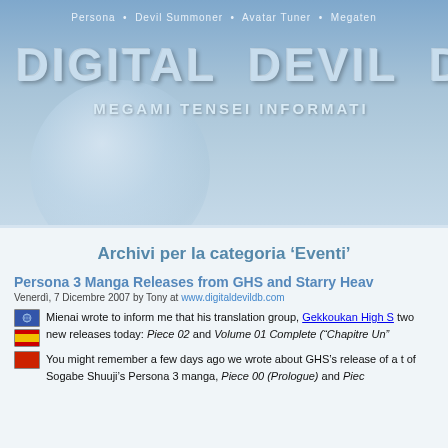Persona • Devil Summoner • Avatar Tuner • Megaten
DIGITAL DEVIL DAT
MEGAMI TENSEI INFORMATI
Archivi per la categoria 'Eventi'
Persona 3 Manga Releases from GHS and Starry Heav
Venerdì, 7 Dicembre 2007 by Tony at www.digitaldevildb.com
Mienai wrote to inform me that his translation group, Gekkoukan High S... two new releases today: Piece 02 and Volume 01 Complete ("Chapitre Un"
You might remember a few days ago we wrote about GHS's release of a t... of Sogabe Shuuji's Persona 3 manga, Piece 00 (Prologue) and Piec...